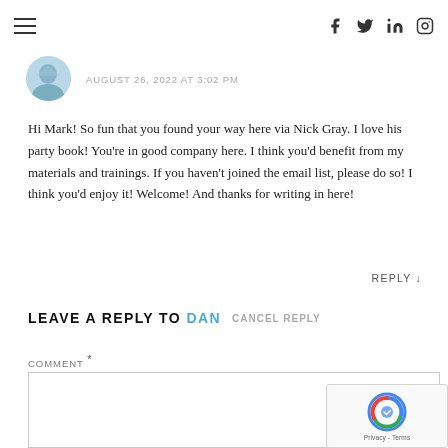≡  [social icons: Facebook, Twitter, LinkedIn, Instagram]
AUGUST 26, 2022 AT 3:02 PM
Hi Mark! So fun that you found your way here via Nick Gray. I love his party book! You're in good company here. I think you'd benefit from my materials and trainings. If you haven't joined the email list, please do so! I think you'd enjoy it! Welcome! And thanks for writing in here!
REPLY ↓
LEAVE A REPLY TO DAN   CANCEL REPLY
COMMENT *